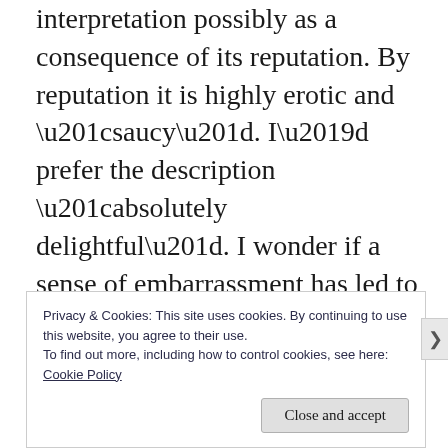interpretation possibly as a consequence of its reputation. By reputation it is highly erotic and “saucy”. I’d prefer the description “absolutely delightful”. I wonder if a sense of embarrassment has led to its allegorical interpretations shared by synagogue and church which sees the poetry referring to the love of God for his people. Have such interpretations demeaned the text?
Privacy & Cookies: This site uses cookies. By continuing to use this website, you agree to their use.
To find out more, including how to control cookies, see here: Cookie Policy
Close and accept